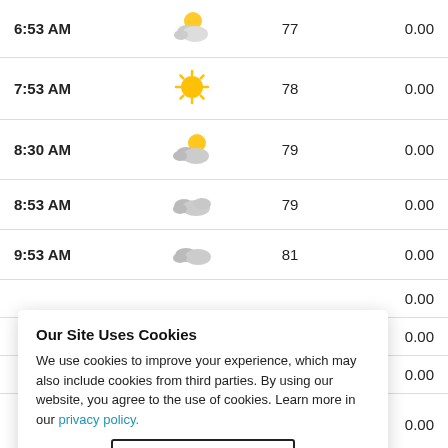| Time | Icon | Temp | Precip |
| --- | --- | --- | --- |
| 6:53 AM |  | 77 | 0.00 |
| 7:53 AM |  | 78 | 0.00 |
| 8:30 AM |  | 79 | 0.00 |
| 8:53 AM |  | 79 | 0.00 |
| 9:53 AM |  | 81 | 0.00 |
|  |  |  | 0.00 |
|  |  |  | 0.00 |
|  |  |  | 0.00 |
|  |  |  | 0.00 |
Our Site Uses Cookies
We use cookies to improve your experience, which may also include cookies from third parties. By using our website, you agree to the use of cookies. Learn more in our privacy policy.